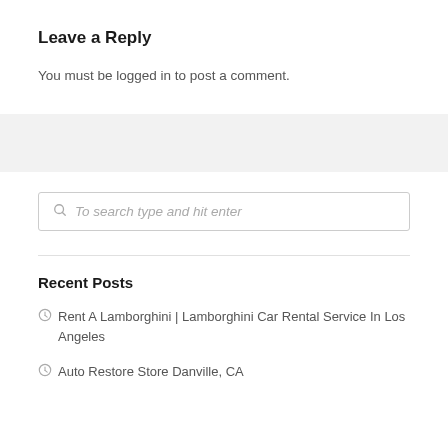Leave a Reply
You must be logged in to post a comment.
To search type and hit enter
Recent Posts
Rent A Lamborghini | Lamborghini Car Rental Service In Los Angeles
Auto Restore Store Danville, CA